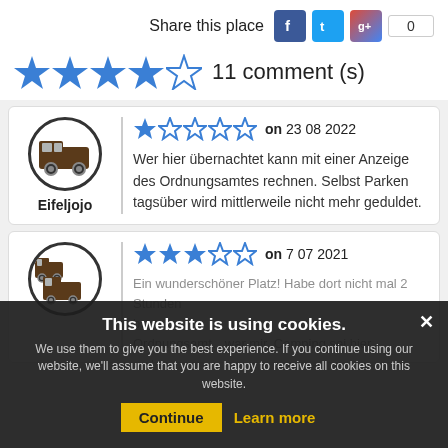Share this place
11 comment (s)
on 23 08 2022
Eifeljojo
Wer hier übernachtet kann mit einer Anzeige des Ordnungsamtes rechnen. Selbst Parken tagsüber wird mittlerweile nicht mehr geduldet.
on 7 07 2021
Ein wunderschöner Platz! Habe dort nicht mal 2 Stunden ...
This website is using cookies. We use them to give you the best experience. If you continue using our website, we'll assume that you are happy to receive all cookies on this website.
Continue
Learn more